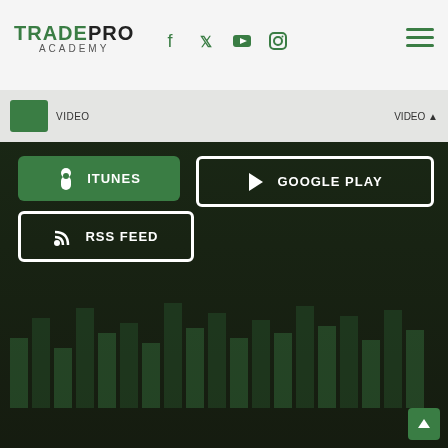[Figure (screenshot): TradePro Academy website screenshot showing header with logo, social media icons, hamburger menu, and app download buttons (iTunes, Google Play, RSS Feed) over a dark trading chart background]
TRADE PRO ACADEMY
FOUNDATIONS
ITUNES
GOOGLE PLAY
RSS FEED